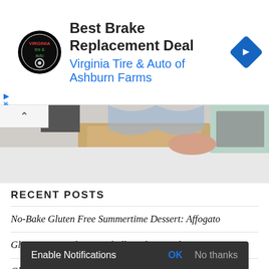[Figure (screenshot): Advertisement banner for Virginia Tire & Auto of Ashburn Farms - Best Brake Replacement Deal, with logo and navigation arrow icon]
[Figure (photo): Partial photo of a person using a cutting board in a kitchen with food preparation]
RECENT POSTS
No-Bake Gluten Free Summertime Dessert: Affogato
Gluten Free Turkey Meatballs with Marsala Wine Sauce
Gluten Free Chicken Corn Chowder (Safeway Copycat) Dairy-Free C...
Gluten Free Fried Chicken Using Corn Flakes with a Quick
Enable Notifications  OK  No thanks